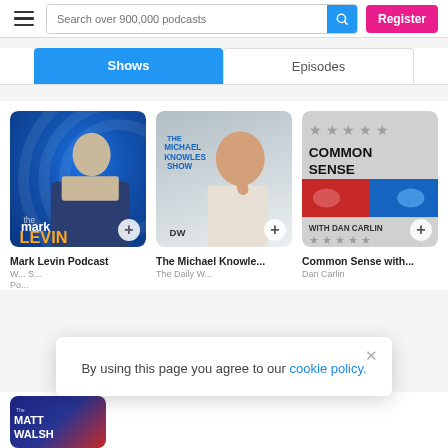Search over 900,000 podcasts | Register
Shows | Episodes
[Figure (screenshot): Mark Levin Podcast thumbnail with blue radial background and host photo]
Mark Levin Podcast
[Figure (screenshot): The Michael Knowles Show thumbnail with grey background, host holding cigar, DW logo]
The Michael Knowle...
[Figure (screenshot): Common Sense with Dan Carlin thumbnail showing stars, eyes, and bold text]
Common Sense with...
By using this page you agree to our cookie policy.
[Figure (screenshot): The Matt Walsh Show thumbnail partial view at bottom]